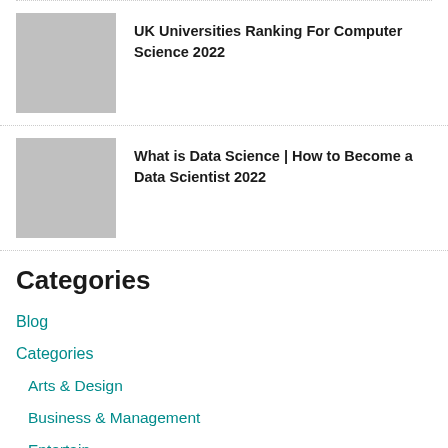[Figure (photo): Thumbnail placeholder image (grey square) for UK Universities Ranking article]
UK Universities Ranking For Computer Science 2022
[Figure (photo): Thumbnail placeholder image (grey square) for What is Data Science article]
What is Data Science | How to Become a Data Scientist 2022
Categories
Blog
Categories
Arts & Design
Business & Management
Entertainment